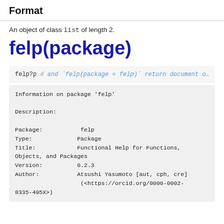Format
An object of class list of length 2.
felp(package)
felp?p # and `felp(package = felp)` return document o…
Information on package 'felp'

Description:

Package:           felp
Type:              Package
Title:             Functional Help for Functions, Objects, and Packages
Version:           0.2.3
Author:            Atsushi Yasumoto [aut, cph, cre]
                   (<https://orcid.org/0000-0002-8335-495X>)